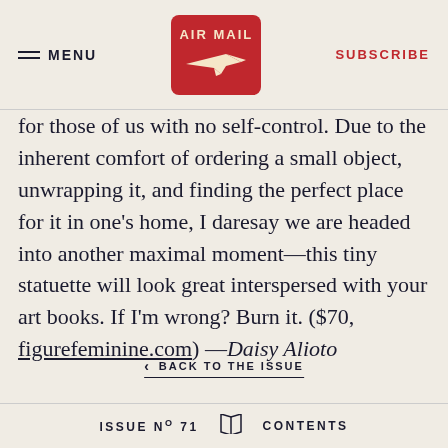MENU | AIR MAIL | SUBSCRIBE
for those of us with no self-control. Due to the inherent comfort of ordering a small object, unwrapping it, and finding the perfect place for it in one's home, I daresay we are headed into another maximal moment—this tiny statuette will look great interspersed with your art books. If I'm wrong? Burn it. ($70, figurefeminine.com) —Daisy Alioto
BACK TO THE ISSUE
[Figure (photo): Circular cropped photo showing knitting yarn and needles on a wooden surface]
ISSUE No 71 | CONTENTS